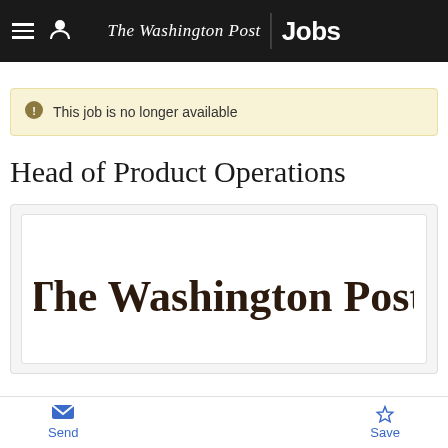The Washington Post Jobs
This job is no longer available
Head of Product Operations
[Figure (logo): The Washington Post logo in blackletter/gothic font, dark brown text on white background]
Send  Save